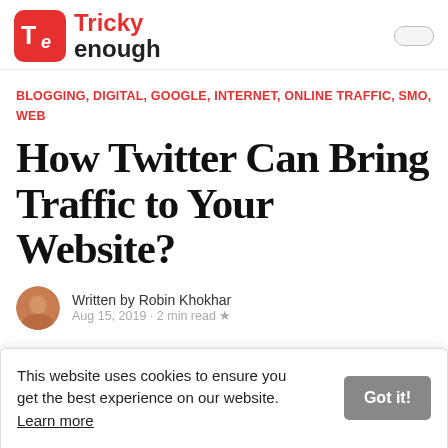[Figure (logo): Tricky Enough logo — red rounded square with 'Te' monogram, beside bold red text 'Tricky enough']
BLOGGING, DIGITAL, GOOGLE, INTERNET, ONLINE TRAFFIC, SMO, WEB
How Twitter Can Bring Traffic to Your Website?
Written by Robin Khokhar
Aug 15, 2019 · 2 min read ★
This website uses cookies to ensure you get the best experience on our website. Learn more